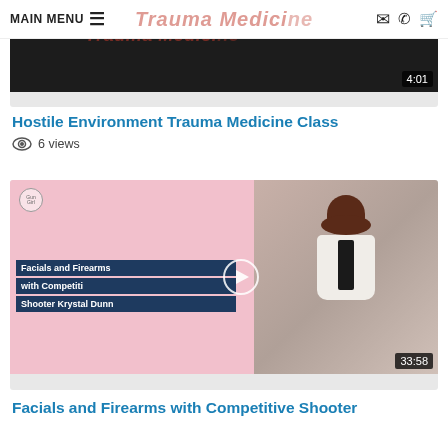MAIN MENU ☰  Trauma Medicine  ✉ ✆ 🛒
[Figure (screenshot): Video thumbnail with dark background and red italic text 'Trauma Medicine', duration badge '4:01']
Hostile Environment Trauma Medicine Class
👁 6 views
[Figure (screenshot): Video thumbnail for 'Facials and Firearms with Competitive Shooter Krystal Dunn' - pink background left half with text overlay on dark navy, right half shows woman with dark hair in white blazer, play button overlay, duration badge '33:58']
Facials and Firearms with Competitive Shooter